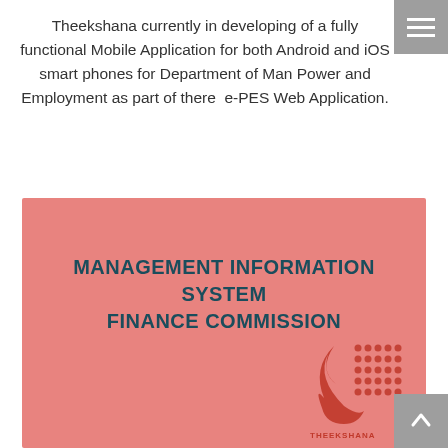Theekshana currently in developing of a fully functional Mobile Application for both Android and iOS smart phones for Department of Man Power and Employment as part of there e-PES Web Application.
[Figure (infographic): Pink card showing 'MANAGEMENT INFORMATION SYSTEM FINANCE COMMISSION' in teal bold text, with Theekshana logo at bottom right corner.]